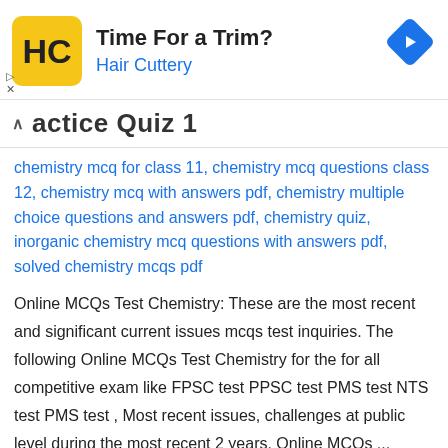[Figure (other): Advertisement banner for Hair Cuttery with logo, title 'Time For a Trim?', subtitle 'Hair Cuttery', and a blue diamond navigation arrow icon on the right.]
actice Quiz 1
chemistry mcq for class 11, chemistry mcq questions class 12, chemistry mcq with answers pdf, chemistry multiple choice questions and answers pdf, chemistry quiz, inorganic chemistry mcq questions with answers pdf, solved chemistry mcqs pdf
Online MCQs Test Chemistry: These are the most recent and significant current issues mcqs test inquiries. The following Online MCQs Test Chemistry for the for all competitive exam like FPSC test PPSC test PMS test NTS test PMS test , Most recent issues, challenges at public level during the most recent 2 years. Online MCQs ...